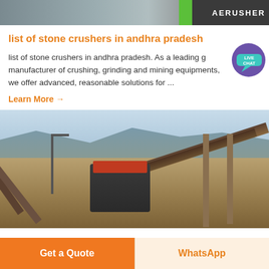[Figure (photo): Top banner image of industrial crushing equipment with AERUSHER logo/text on dark background with green stripe]
list of stone crushers in andhra pradesh
list of stone crushers in andhra pradesh. As a leading global manufacturer of crushing, grinding and mining equipments, we offer advanced, reasonable solutions for ...
Learn More →
[Figure (photo): Industrial stone crusher and conveyor belt machinery at a quarry site with mountains in background]
Get a Quote
WhatsApp